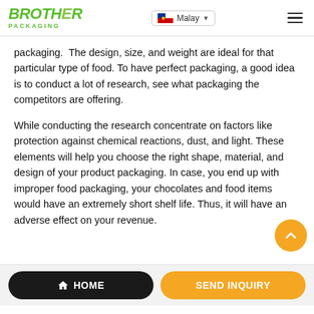BROTHER PACKAGING | Malay
packaging.  The design, size, and weight are ideal for that particular type of food. To have perfect packaging, a good idea is to conduct a lot of research, see what packaging the competitors are offering.
While conducting the research concentrate on factors like protection against chemical reactions, dust, and light. These elements will help you choose the right shape, material, and design of your product packaging. In case, you end up with improper food packaging, your chocolates and food items would have an extremely short shelf life. Thus, it will have an adverse effect on your revenue.
HOME | SEND INQUIRY